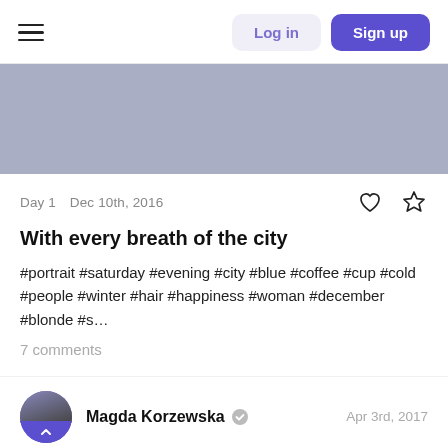Log in  Sign up
[Figure (photo): Gray/lavender colored banner image area]
Day 1  Dec 10th, 2016
With every breath of the city
#portrait #saturday #evening #city #blue #coffee #cup #cold #people #winter #hair #happiness #woman #december #blonde #s...
7 comments
Magda Korzewska   Apr 3rd, 2017